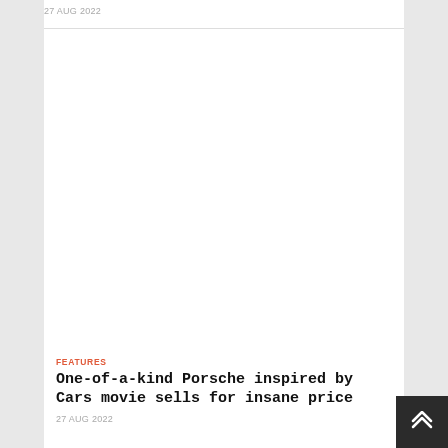27 AUG 2022
FEATURES
One-of-a-kind Porsche inspired by Cars movie sells for insane price
27 AUG 2022